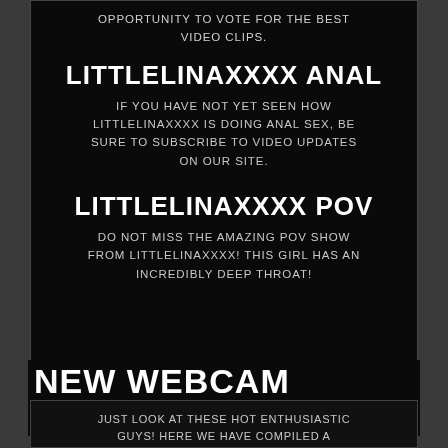OPPORTUNITY TO VOTE FOR THE BEST VIDEO CLIPS.
LITTLELINAXXXX ANAL
IF YOU HAVE NOT YET SEEN HOW LITTLELINAXXXX IS DOING ANAL SEX, BE SURE TO SUBSCRIBE TO VIDEO UPDATES ON OUR SITE.
LITTLELINAXXXX POV
DO NOT MISS THE AMAZING POV SHOW FROM LITTLELINAXXXX! THIS GIRL HAS AN INCREDIBLY DEEP THROAT!
NEW WEBCAM MODELS
JUST LOOK AT THESE HOT ENTHUSIASTIC GUYS! HERE WE HAVE COMPILED A CATALOG OF NEW WEBCAMS BROADCASTERS, MOST RECENTLY APPEARED ON OUR WEBSITE. LOOK AT